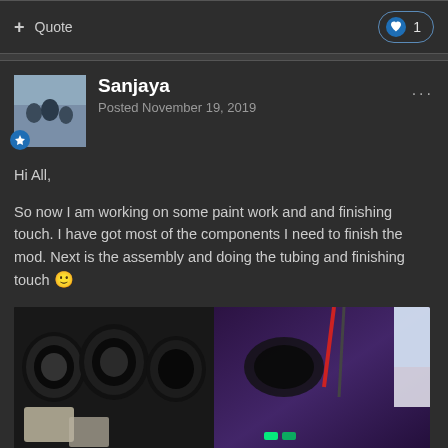+ Quote
❤ 1
Sanjaya
Posted November 19, 2019
Hi All,
So now I am working on some paint work and and finishing touch. I have got most of the components I need to finish the mod. Next is the assembly and doing the tubing and finishing touch 🙂
[Figure (photo): Photo of camera lenses and electronics/PC components on a desk with purple lighting]